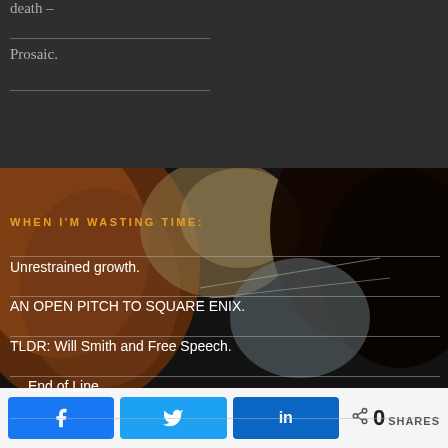death –
Prosaic.
[Figure (photo): Close-up photo of a cat's face, dark background with orange/brown fur tones]
WHEN I'M WASTING TIME:
Unrestrained growth.
AN OPEN PITCH TO SQUARE ENIX.
TLDR: Will Smith and Free Speech.
… End of Line.
0 SHARES